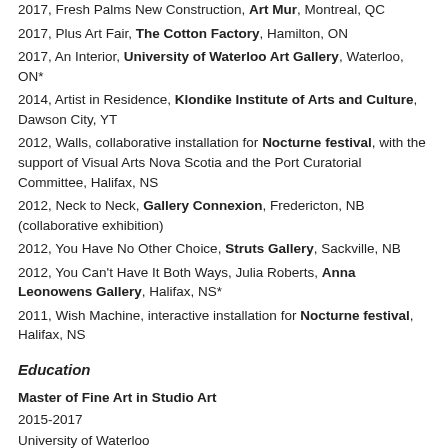2017, Fresh Palms New Construction, Art Mur, Montreal, QC
2017, Plus Art Fair, The Cotton Factory, Hamilton, ON
2017, An Interior, University of Waterloo Art Gallery, Waterloo, ON*
2014, Artist in Residence, Klondike Institute of Arts and Culture, Dawson City, YT
2012, Walls, collaborative installation for Nocturne festival, with the support of Visual Arts Nova Scotia and the Port Curatorial Committee, Halifax, NS
2012, Neck to Neck, Gallery Connexion, Fredericton, NB (collaborative exhibition)
2012, You Have No Other Choice, Struts Gallery, Sackville, NB
2012, You Can't Have It Both Ways, Julia Roberts, Anna Leonowens Gallery, Halifax, NS*
2011, Wish Machine, interactive installation for Nocturne festival, Halifax, NS
Education
Master of Fine Art in Studio Art
2015-2017
University of Waterloo